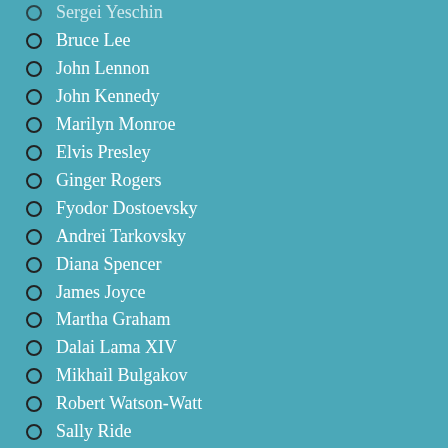Sergei Yeschin
Bruce Lee
John Lennon
John Kennedy
Marilyn Monroe
Elvis Presley
Ginger Rogers
Fyodor Dostoevsky
Andrei Tarkovsky
Diana Spencer
James Joyce
Martha Graham
Dalai Lama XIV
Mikhail Bulgakov
Robert Watson-Watt
Sally Ride
Phil Donahue
Jim Henson
Sigmund Freud
Wolfgang Amadeus Mozart